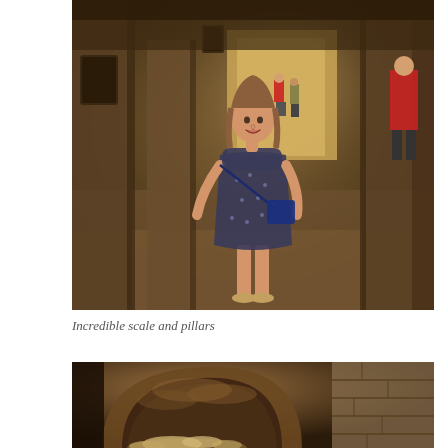[Figure (photo): A woman in a floral dress and crossbody bag stands smiling inside a large ancient stone building with massive pillars and high ceilings. Other tourists are visible in the background through an archway opening.]
Incredible scale and pillars
[Figure (photo): A stone vaulted tunnel or underground passageway with rough arched ceiling and stone block walls, partially lit from below.]